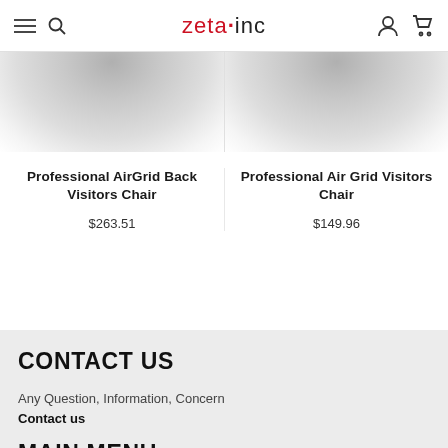zeta·inc
[Figure (photo): Partial product images visible at top of two product columns, blurred/cropped chair images]
Professional AirGrid Back Visitors Chair
$263.51
Professional Air Grid Visitors Chair
$149.96
CONTACT US
Any Question, Information, Concern
Contact us
MAIN MENU